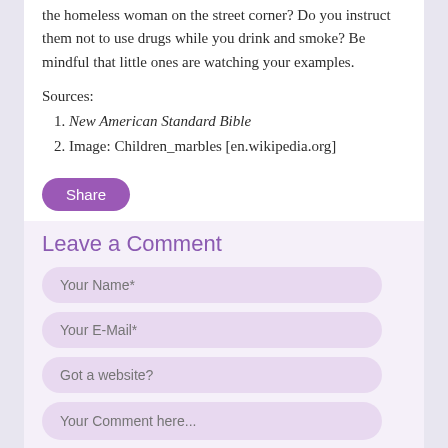the homeless woman on the street corner? Do you instruct them not to use drugs while you drink and smoke? Be mindful that little ones are watching your examples.
Sources:
1. New American Standard Bible
2. Image: Children_marbles [en.wikipedia.org]
Share
Leave a Comment
Your Name*
Your E-Mail*
Got a website?
Your Comment here...